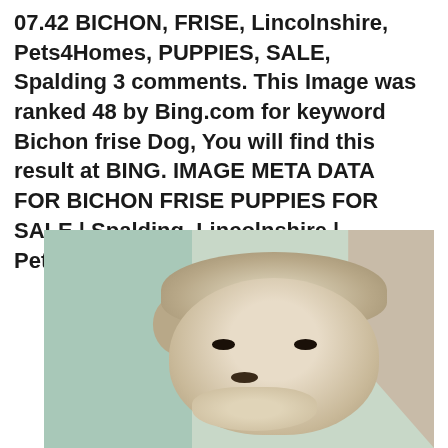07.42 BICHON, FRISE, Lincolnshire, Pets4Homes, PUPPIES, SALE, Spalding 3 comments. This Image was ranked 48 by Bing.com for keyword Bichon frise Dog, You will find this result at BING. IMAGE META DATA FOR BICHON FRISE PUPPIES FOR SALE | Spalding, Lincolnshire | Pets4Homes\'s IMAGE.
[Figure (photo): Close-up photo of a small fluffy white/cream Bichon Frise puppy with dark eyes, looking at the camera. Background shows a teal/mint colored knit fabric on the left and a light beige wall on the right.]